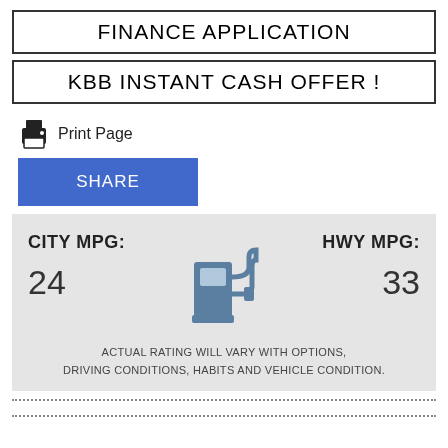FINANCE APPLICATION
KBB INSTANT CASH OFFER !
Print Page
SHARE
[Figure (infographic): Fuel economy display showing CITY MPG: 24 and HWY MPG: 33 with a gas pump icon in the center. Disclaimer: ACTUAL RATING WILL VARY WITH OPTIONS, DRIVING CONDITIONS, HABITS AND VEHICLE CONDITION.]